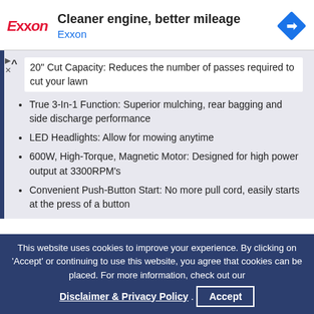[Figure (infographic): Exxon advertisement banner with logo, text 'Cleaner engine, better mileage', subtitle 'Exxon', and a blue diamond navigation icon on the right]
20" Cut Capacity: Reduces the number of passes required to cut your lawn
True 3-In-1 Function: Superior mulching, rear bagging and side discharge performance
LED Headlights: Allow for mowing anytime
600W, High-Torque, Magnetic Motor: Designed for high power output at 3300RPM's
Convenient Push-Button Start: No more pull cord, easily starts at the press of a button
This website uses cookies to improve your experience. By clicking on 'Accept' or continuing to use this website, you agree that cookies can be placed. For more information, check out our
Disclaimer & Privacy Policy. Accept